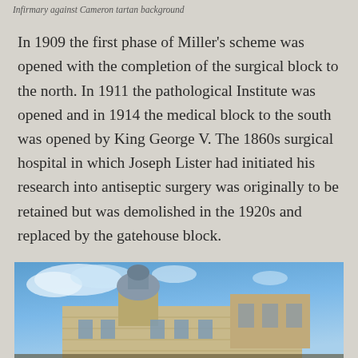Infirmary against Cameron tartan background
In 1909 the first phase of Miller's scheme was opened with the completion of the surgical block to the north. In 1911 the pathological Institute was opened and in 1914 the medical block to the south was opened by King George V. The 1860s surgical hospital in which Joseph Lister had initiated his research into antiseptic surgery was originally to be retained but was demolished in the 1920s and replaced by the gatehouse block.
[Figure (photo): Photograph of the Glasgow Royal Infirmary building exterior showing domed towers and ornate stonework against a blue sky with clouds.]